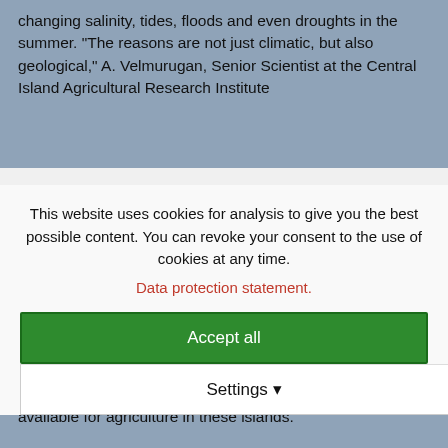changing salinity, tides, floods and even droughts in the summer. "The reasons are not just climatic, but also geological," A. Velmurugan, Senior Scientist at the Central Island Agricultural Research Institute
This website uses cookies for analysis to give you the best possible content. You can revoke your consent to the use of cookies at any time.
Data protection statement.
Accept all
Settings ▾
Exposed to the calamities
More than 4,200 hectares of agriculture land is under permanent submergence, which has reduced the area available for agriculture in these islands.